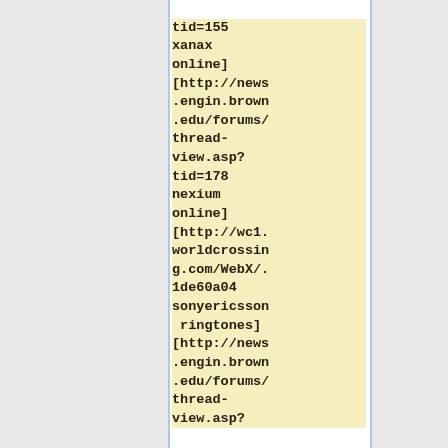tid=155 xanax online] [http://news.engin.brown.edu/forums/thread-view.asp?tid=178 nexium online] [http://wc1.worldcrossing.com/WebX/.1de60a04 sonyericsson ringtones] [http://news.engin.brown.edu/forums/thread-view.asp?